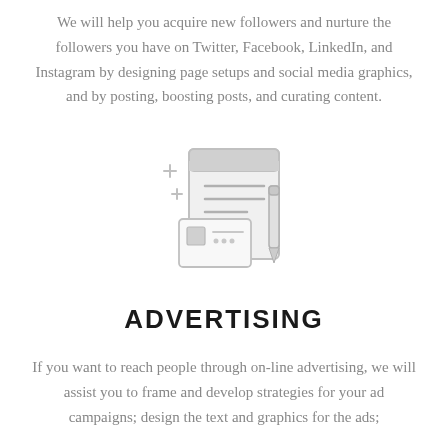We will help you acquire new followers and nurture the followers you have on Twitter, Facebook, LinkedIn, and Instagram by designing page setups and social media graphics, and by posting, boosting posts, and curating content.
[Figure (illustration): Line-art illustration of a document/page layout icon with a card, pencil, and plus symbols in light gray]
ADVERTISING
If you want to reach people through on-line advertising, we will assist you to frame and develop strategies for your ad campaigns; design the text and graphics for the ads;